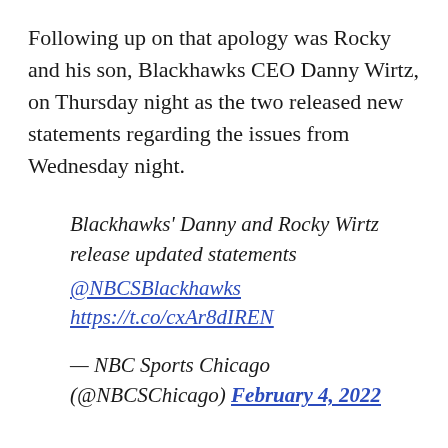Following up on that apology was Rocky and his son, Blackhawks CEO Danny Wirtz, on Thursday night as the two released new statements regarding the issues from Wednesday night.
Blackhawks' Danny and Rocky Wirtz release updated statements @NBCSBlackhawks https://t.co/cxAr8dIREN
— NBC Sports Chicago (@NBCSChicago) February 4, 2022